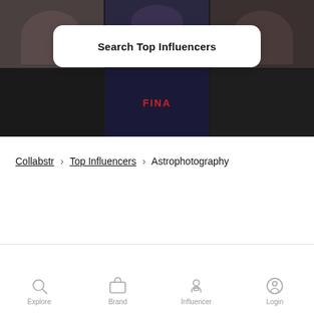[Figure (screenshot): Hero image grid showing a 2x3 collage of dark photos with people, including a street sign reading FINA]
Search Top Influencers
Collabstr › Top Influencers › Astrophotography
Explore   Brand   Influencer   Login